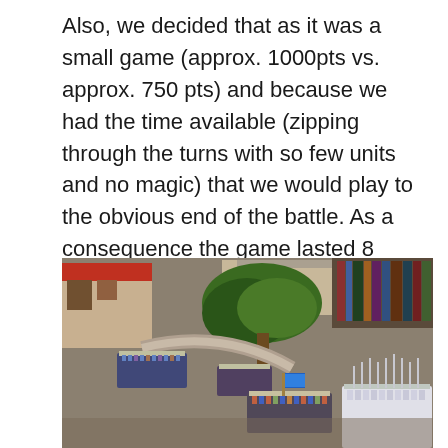Also, we decided that as it was a small game (approx. 1000pts vs. approx. 750 pts) and because we had the time available (zipping through the turns with so few units and no magic) that we would play to the obvious end of the battle. As a consequence the game lasted 8 turns.
Here are a few actual in game pics, in order …
[Figure (photo): Photograph of a tabletop wargame showing miniature figures on a gaming table. The scene includes terrain pieces such as a building with a red roof on the left, a large tree model in the center-background, and a stone wall or river feature. Multiple groups of miniature soldiers are arranged on the table: a group on the left side, figures in the center near the tree, a unit with a blue banner in the lower center, and silver/white armored figures on the right. Books or shelves are visible in the background.]